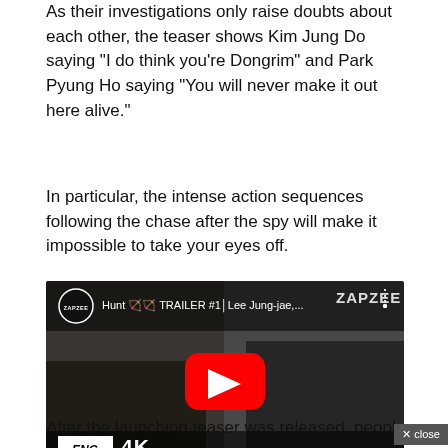As their investigations only raise doubts about each other, the teaser shows Kim Jung Do saying “I do think you’re Dongrim” and Park Pyung Ho saying “You will never make it out here alive.”
In particular, the intense action sequences following the chase after the spy will make it impossible to take your eyes off.
[Figure (screenshot): YouTube video thumbnail for 'Hunt TRAILER #1 Lee Jung-jae,...' showing two men in suits with a YouTube play button overlay. Bottom left shows 'ENG SUB 4K TRAILER' text. ZAPZEE watermark visible top right.]
After the launching teaser was released, people